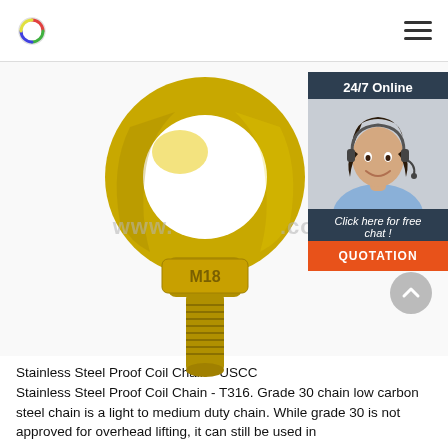[Figure (photo): Gold/yellow zinc-plated M18 eye bolt with threaded shank, shown on white background. The ring/eye is circular with a large hole. The threaded stud is visible below the body. Text 'M18' embossed on the bolt body. Watermark 'www.' partially visible. A 24/7 online chat widget with a female agent photo, 'Click here for free chat!' text, and orange QUOTATION button is overlaid in the upper right.]
Stainless Steel Proof Coil Chain - USCC
Stainless Steel Proof Coil Chain - T316. Grade 30 chain low carbon steel chain is a light to medium duty chain. While grade 30 is not approved for overhead lifting, it can still be used in